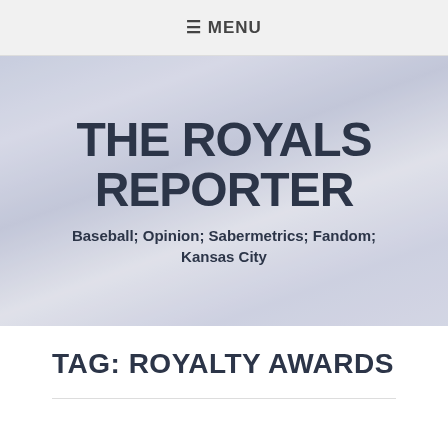≡ MENU
THE ROYALS REPORTER
Baseball; Opinion; Sabermetrics; Fandom; Kansas City
TAG: ROYALTY AWARDS